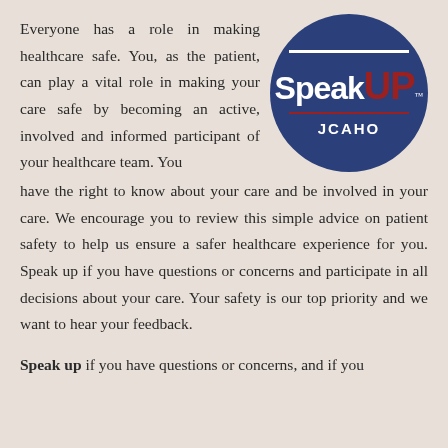Everyone has a role in making healthcare safe. You, as the patient, can play a vital role in making your care safe by becoming an active, involved and informed participant of your healthcare team. You have the right to know about your care and be involved in your care. We encourage you to review this simple advice on patient safety to help us ensure a safer healthcare experience for you. Speak up if you have questions or concerns and participate in all decisions about your care. Your safety is our top priority and we want to hear your feedback.
[Figure (logo): JCAHO Speak UP logo — a dark blue circle containing the words 'Speak' in white bold text and 'UP' in dark red bold text, with a white horizontal bar above and a dark red horizontal bar below the text, and 'JCAHO' in white bold letters at the bottom of the circle.]
Speak up if you have questions or concerns, and if you